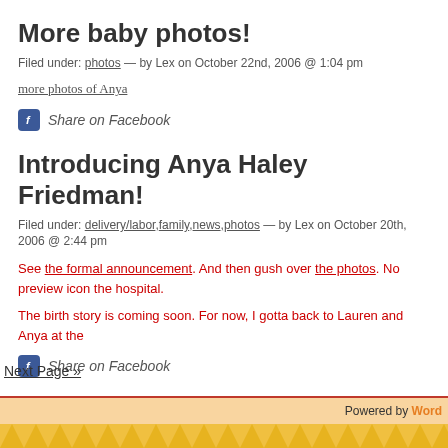More baby photos!
Filed under: photos — by Lex on October 22nd, 2006 @ 1:04 pm
more photos of Anya
Share on Facebook
Introducing Anya Haley Friedman!
Filed under: delivery/labor,family,news,photos — by Lex on October 20th, 2006 @ 2:44 pm
See the formal announcement. And then gush over the photos. No preview icon the hospital.
The birth story is coming soon. For now, I gotta back to Lauren and Anya at the
Share on Facebook
Next Page »
Powered by Word